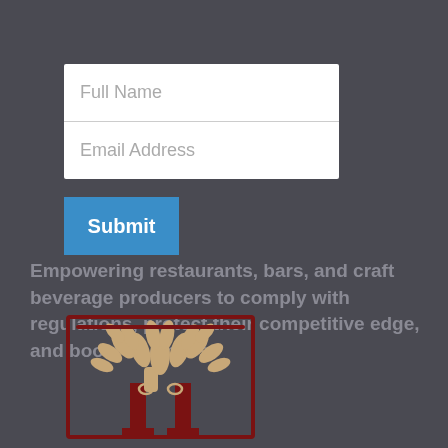[Figure (infographic): Web form with Full Name and Email Address input fields, and a blue Submit button below]
Empowering restaurants, bars, and craft beverage producers to comply with regulations, protect their competitive edge, and boost revenues.
[Figure (logo): A dark red / maroon logo featuring a stylized tree with spreading branches made of leaf shapes, growing from two column-like pillars, enclosed in a rectangular border]